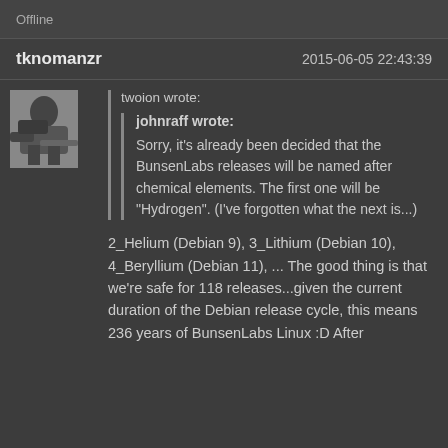Offline
tknomanzr    2015-06-05 22:43:39
[Figure (photo): Black and white avatar photo of a person leaning over something, appears to be working at a desk or table]
twoion wrote:
johnraff wrote:
Sorry, it's already been decided that the BunsenLabs releases will be named after chemical elements. The first one will be "Hydrogen". (I've forgotten what the next is...)
2_Helium (Debian 9), 3_Lithium (Debian 10), 4_Beryllium (Debian 11), ... The good thing is that we're safe for 118 releases...given the current duration of the Debian release cycle, this means 236 years of BunsenLabs Linux :D After